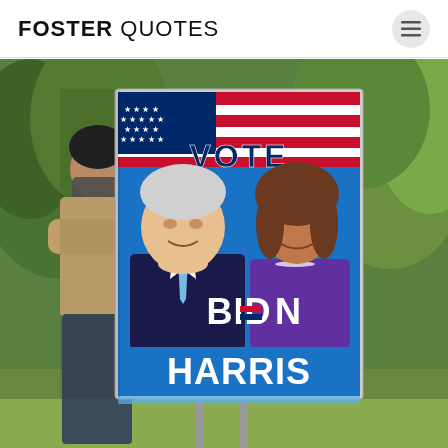FOSTER QUOTES
[Figure (photo): A person wearing a mask holds up a large Biden-Harris campaign sign. The sign features illustrated portraits of Joe Biden and Kamala Harris with an American flag background, the word VOTE at the top, and text reading BIDEN HARRIS at the bottom. The photo is taken outdoors with trees in the background.]